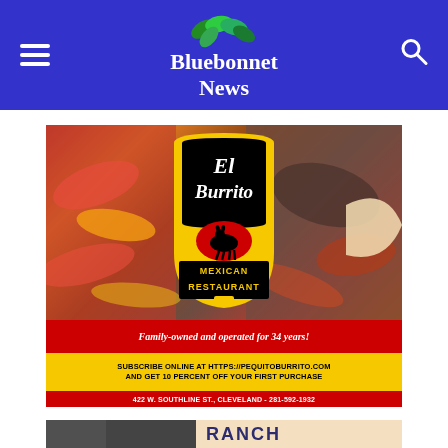Bluebonnet News
[Figure (illustration): El Burrito Mexican Restaurant advertisement. Yellow shield logo with black donkey silhouette on red oval, text reading El Burrito Mexican Restaurant. Red bar: Family-owned and operated for 34 years! Yellow bar: SUBSCRIBE ONLINE AT HTTPS://PEQUITOBURRITO.COM AND GET 10 PERCENT OFF YOUR FIRST PURCHASE. Red bar: 422 W. SOUTHLINE ST., CLEVELAND - 281-592-1932. Background shows food photography of fajitas and grilled meats.]
[Figure (photo): Partial view of a second advertisement showing the word RANCH on a tan/beige background with dark left side.]